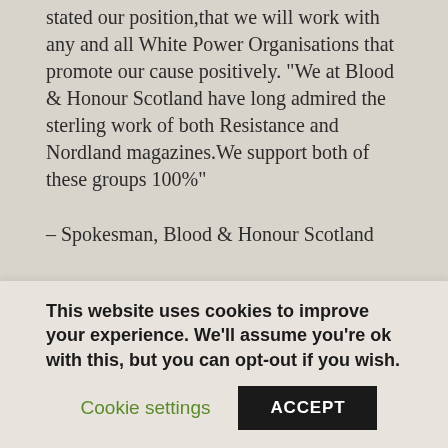stated our position,that we will work with any and all White Power Organisations that promote our cause positively. "We at Blood & Honour Scotland have long admired the sterling work of both Resistance and Nordland magazines.We support both of these groups 100%"
– Spokesman, Blood & Honour Scotland
"We have witnessed Combat 18 turn friend against friend against friend,with their constant onslaught of verbal and written lies
This website uses cookies to improve your experience. We'll assume you're ok with this, but you can opt-out if you wish.